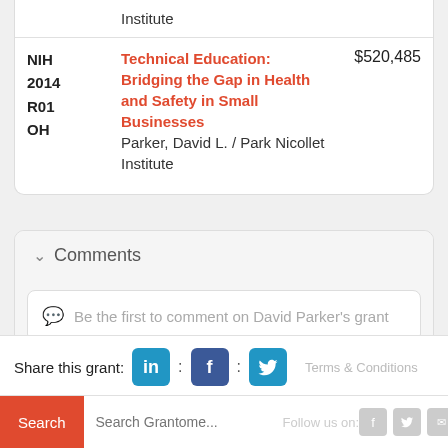| Agency/Year/Type/State | Project Title | Amount |
| --- | --- | --- |
|  | Institute |  |
| NIH
2014
R01
OH | Technical Education: Bridging the Gap in Health and Safety in Small Businesses
Parker, David L. / Park Nicollet Institute | $520,485 |
Comments
Be the first to comment on David Parker's grant
Share this grant:
Terms & Conditions
Follow us on: